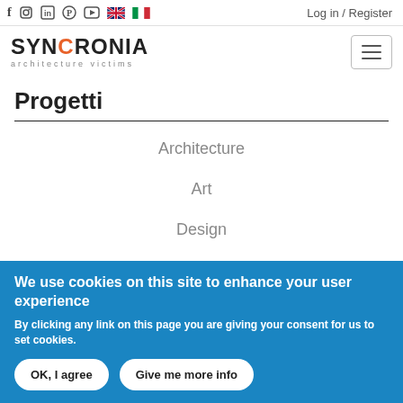Social icons | UK flag | IT flag | Log in / Register
[Figure (logo): SYNCRONIA architecture victims logo with hamburger menu button]
Progetti
Architecture
Art
Design
We use cookies on this site to enhance your user experience
By clicking any link on this page you are giving your consent for us to set cookies.
OK, I agree | Give me more info